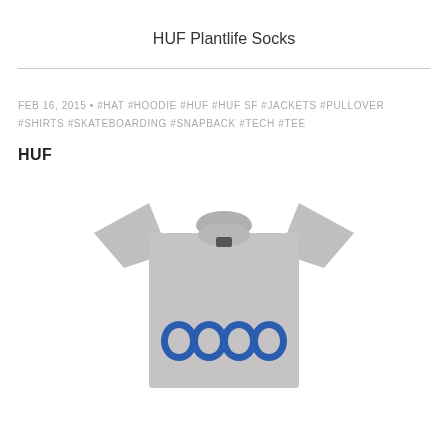HUF Plantlife Socks
FEB 16, 2015 • #HAT #HOODIE #HUF #HUF SF #JACKETS #PULLOVER #SHIRTS #SKATEBOARDING #SNAPBACK #TECH #TEE
HUF
[Figure (photo): Grey HUF t-shirt with blue bubble letter graphic on the front, photographed on a white background, cropped at bottom of frame.]